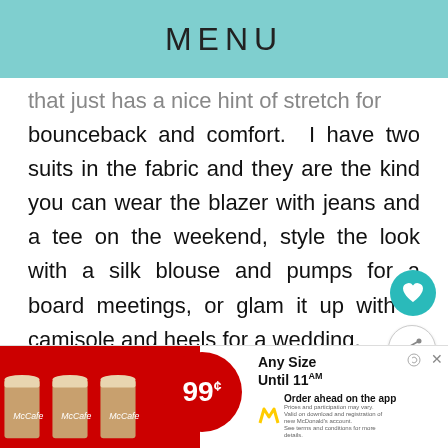MENU
that just has a nice hint of stretch for bounceback and comfort.  I have two suits in the fabric and they are the kind you can wear the blazer with jeans and a tee on the weekend, style the look with a silk blouse and pumps for a board meetings, or glam it up with a camisole and heels for a wedding.
[Figure (screenshot): McDonald's McCafe advertisement banner showing three iced coffee drinks, 99 cent price, 'Any Size Until 11AM', and 'Order ahead on the app' with McDonald's logo]